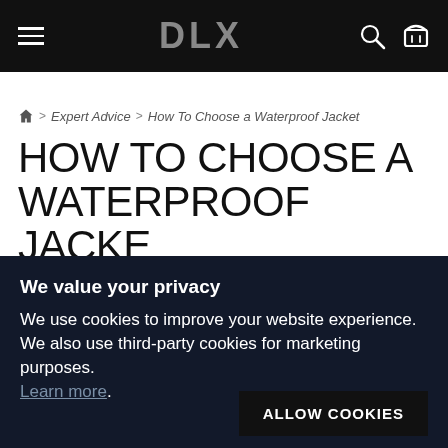DLX
🏠 > Expert Advice > How To Choose a Waterproof Jacket
HOW TO CHOOSE A WATERPROOF JACKE
We value your privacy
We use cookies to improve your website experience. We also use third-party cookies for marketing purposes. Learn more.
ALLOW COOKIES